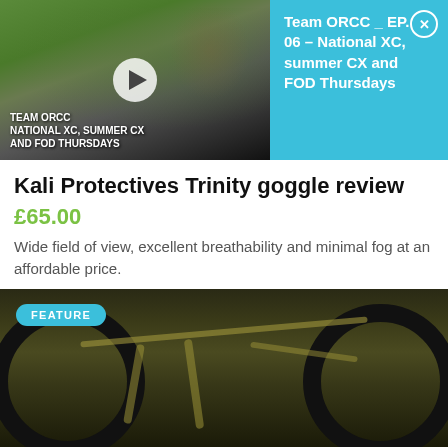[Figure (screenshot): Video thumbnail showing mountain bike rider on dirt track with Team ORCC branding overlay, blue side panel showing episode info and close button]
Kali Protectives Trinity goggle review
£65.00
Wide field of view, excellent breathability and minimal fog at an affordable price.
[Figure (photo): Gold/olive coloured bikepacking mountain bike loaded with bags, parked against woodland background, with FEATURE badge overlay]
How to pack bikepacking bags - carry everything you need